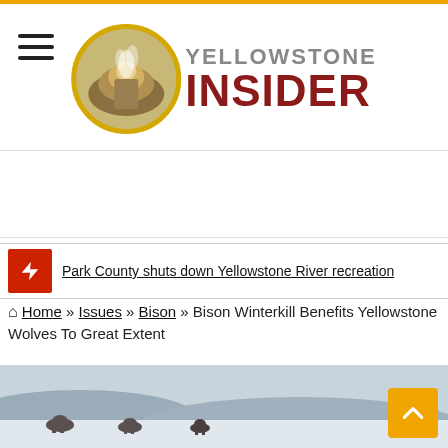[Figure (logo): Yellowstone Insider logo with circular badge and text]
Park County shuts down Yellowstone River recreation
Home » Issues » Bison » Bison Winterkill Benefits Yellowstone Wolves To Great Extent
[Figure (photo): Winter landscape with bison in snowy field]